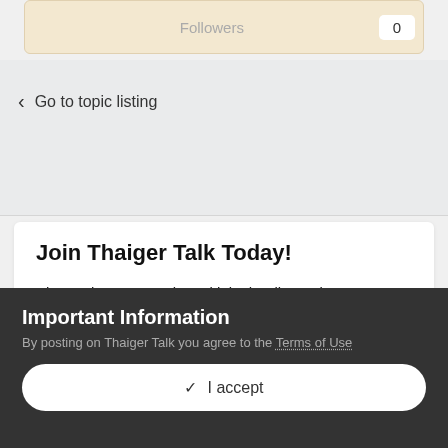Followers 0
< Go to topic listing
Join Thaiger Talk Today!
Sign up in 30 seconds and join the discussion on everything Thailand!
Important Information
By posting on Thaiger Talk you agree to the Terms of Use
✓  I accept